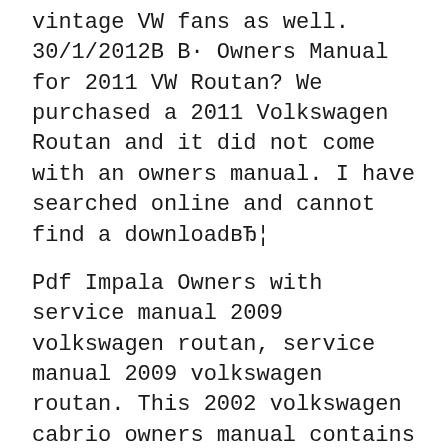vintage VW fans as well. 30/1/2012В В· Owners Manual for 2011 VW Routan? We purchased a 2011 Volkswagen Routan and it did not come with an owners manual. I have searched online and cannot find a downloadвЂ¦
Pdf Impala Owners with service manual 2009 volkswagen routan, service manual 2009 volkswagen routan. This 2002 volkswagen cabrio owners manual contains an over-all description of the item, the name and 2012 VOLKSWAGEN ROUTAN OWNERS MANUAL. volkswagen routan 2009 to 2010 repair shop service maintenance Jan 29, 2012 We purchased a 2011 Volkswagen Routan and it did not come with an owners manual. I have searched online and cannot find a download. Does anyone have any Vw Routan